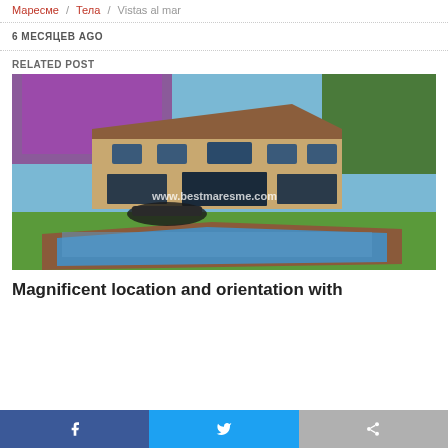Маресме / Тела / Vistas al mar
6 МЕСЯЦЕВ AGO
RELATED POST
[Figure (photo): Mediterranean villa with swimming pool, lush garden, and bougainvillea flowers. Watermark: www.bestmaresme.com]
Magnificent location and orientation with